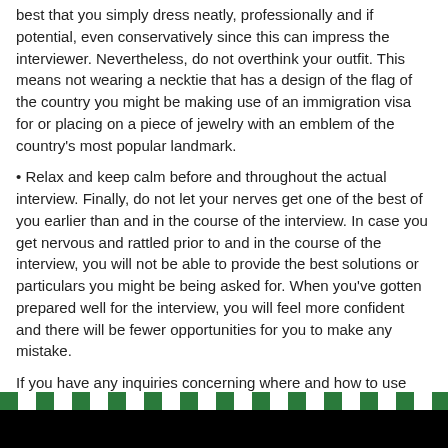best that you simply dress neatly, professionally and if potential, even conservatively since this can impress the interviewer. Nevertheless, do not overthink your outfit. This means not wearing a necktie that has a design of the flag of the country you might be making use of an immigration visa for or placing on a piece of jewelry with an emblem of the country's most popular landmark.
• Relax and keep calm before and throughout the actual interview. Finally, do not let your nerves get one of the best of you earlier than and in the course of the interview. In case you get nervous and rattled prior to and in the course of the interview, you will not be able to provide the best solutions or particulars you might be being asked for. When you've gotten prepared well for the interview, you will feel more confident and there will be fewer opportunities for you to make any mistake.
If you have any inquiries concerning where and how to use book onwardticket, you can speak to us at the page.